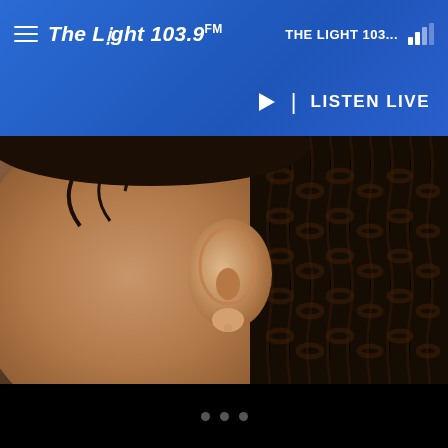The Light 103.9 FM — THE LIGHT 103... | LISTEN LIVE
[Figure (screenshot): Mobile app screenshot showing The Light 103.9 FM radio station header with hamburger menu, station logo, signal strength icon, play button and LISTEN LIVE text, above a photograph of a person's ear and braided hair in profile view. Bottom black bar with navigation dots.]